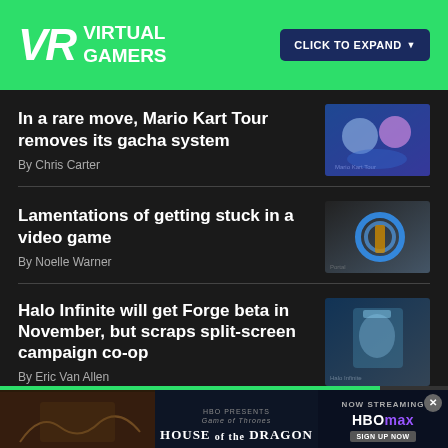VR VIRTUAL GAMERS
CLICK TO EXPAND ▼
In a rare move, Mario Kart Tour removes its gacha system
By Chris Carter
Lamentations of getting stuck in a video game
By Noelle Warner
Halo Infinite will get Forge beta in November, but scraps split-screen campaign co-op
By Eric Van Allen
[Figure (photo): Game screenshot for Mario Kart Tour article]
[Figure (photo): Game screenshot for Lamentations article]
[Figure (photo): Game screenshot for Halo Infinite article]
[Figure (screenshot): House of the Dragon HBO Max advertisement at bottom]